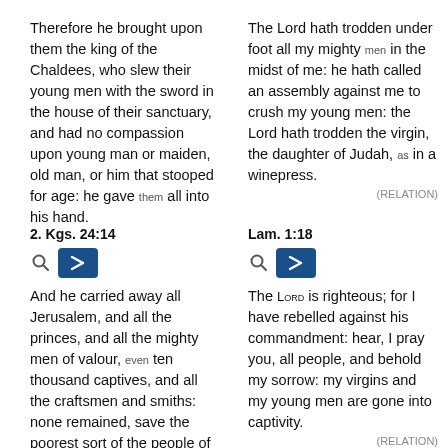Therefore he brought upon them the king of the Chaldees, who slew their young men with the sword in the house of their sanctuary, and had no compassion upon young man or maiden, old man, or him that stooped for age: he gave them all into his hand.
The Lord hath trodden under foot all my mighty men in the midst of me: he hath called an assembly against me to crush my young men: the Lord hath trodden the virgin, the daughter of Judah, as in a winepress.
(RELATION)
2. Kgs. 24:14
Lam. 1:18
And he carried away all Jerusalem, and all the princes, and all the mighty men of valour, even ten thousand captives, and all the craftsmen and smiths: none remained, save the poorest sort of the people of the land.
The LORD is righteous; for I have rebelled against his commandment: hear, I pray you, all people, and behold my sorrow: my virgins and my young men are gone into captivity.
(RELATION)